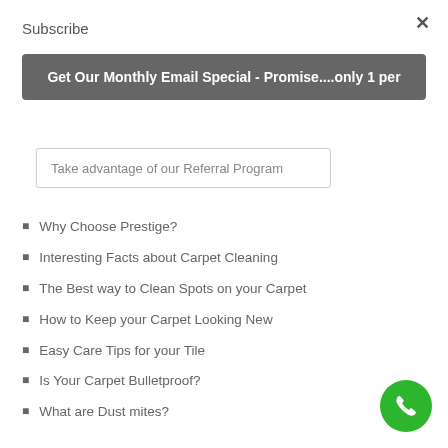Subscribe
×
Get Our Monthly Email Special - Promise....only 1 per
Take advantage of our Referral Program
Why Choose Prestige?
Interesting Facts about Carpet Cleaning
The Best way to Clean Spots on your Carpet
How to Keep your Carpet Looking New
Easy Care Tips for your Tile
Is Your Carpet Bulletproof?
What are Dust mites?